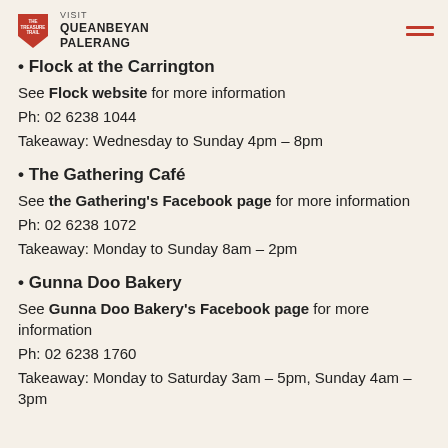VISIT QUEANBEYAN PALERANG
• Flock at the Carrington
See Flock website for more information
Ph: 02 6238 1044
Takeaway: Wednesday to Sunday 4pm – 8pm
• The Gathering Café
See the Gathering's Facebook page for more information
Ph: 02 6238 1072
Takeaway: Monday to Sunday 8am – 2pm
• Gunna Doo Bakery
See Gunna Doo Bakery's Facebook page for more information
Ph: 02 6238 1760
Takeaway: Monday to Saturday 3am – 5pm, Sunday 4am – 3pm